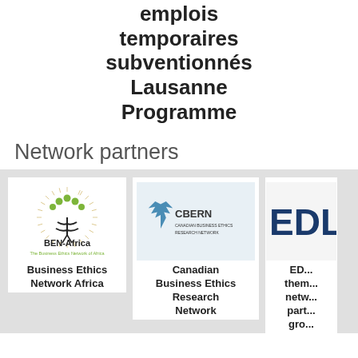emplois temporaires subventionnés Lausanne Programme
Network partners
[Figure (logo): BEN-Africa logo — The Business Ethics Network of Africa]
Business Ethics Network Africa
[Figure (logo): CBERN — Canadian Business Ethics Research Network logo]
Canadian Business Ethics Research Network
[Figure (logo): EDL logo (partially visible)]
ED... them... netw... part... gro...